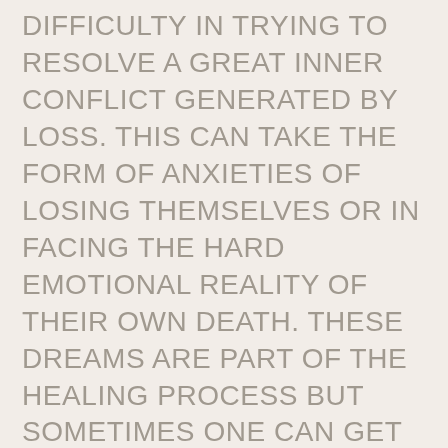DIFFICULTY IN TRYING TO RESOLVE A GREAT INNER CONFLICT GENERATED BY LOSS. THIS CAN TAKE THE FORM OF ANXIETIES OF LOSING THEMSELVES OR IN FACING THE HARD EMOTIONAL REALITY OF THEIR OWN DEATH. THESE DREAMS ARE PART OF THE HEALING PROCESS BUT SOMETIMES ONE CAN GET STUCK IN THE PROCESS WITHOUT MOVING TO THE NEXT LEVEL OF DEALING WITH THE GRIEF.
THE EXPERIENCE OF LOSING SOMEONE THROUGH A VIOLENT DEATH CAN BE SIMILAR TO THE EXPERIENCE OF SOMEONE WITH POST-TRAUMATIC STRESS (PTSD) WITH THE RELIVING OF THE EVENT IN DREAMS OR FLASHBACKS, REPETITIVE NIGHTMARES, AND